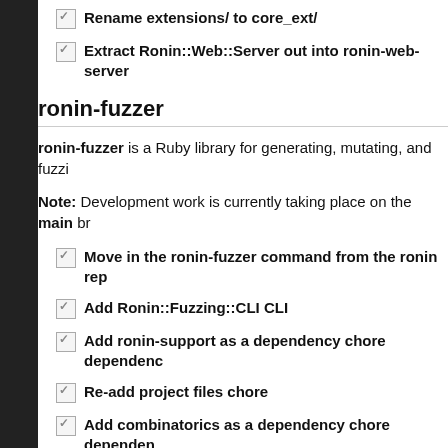Rename extensions/ to core_ext/
Extract Ronin::Web::Server out into ronin-web-server
ronin-fuzzer
ronin-fuzzer is a Ruby library for generating, mutating, and fuzzing data.
Note: Development work is currently taking place on the main br
Move in the ronin-fuzzer command from the ronin repo
Add Ronin::Fuzzing::CLI CLI
Add ronin-support as a dependency chore dependency
Re-add project files chore
Add combinatorics as a dependency chore dependency
Update project name/description in license headers c
ronin-vuln-lfi
ronin-vuln-lfi is a small Ruby library to test for Local File Inclusion